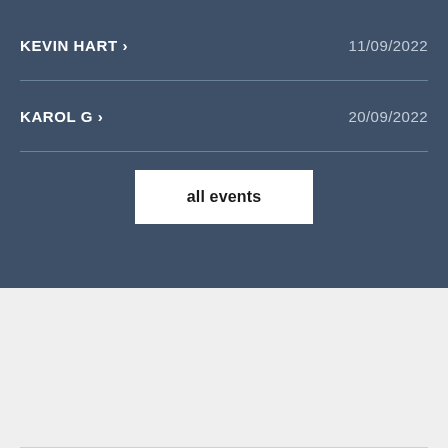KEVIN HART > 11/09/2022
KAROL G > 20/09/2022
all events
Independent guide linking to ticket resale marketplace.